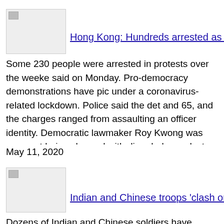[Figure (photo): Thumbnail image placeholder for Hong Kong protests article]
Hong Kong: Hundreds arrested as protes...
Some 230 people were arrested in protests over the weeke... said on Monday. Pro-democracy demonstrations have pic... under a coronavirus-related lockdown. Police said the det... and 65, and the charges ranged from assaulting an officer... identity. Democratic lawmaker Roy Kwong was amongst... being charged with disorderly conduct. Video showed him pushed to the ground. On Sunday, protestors had gathere... mall when hundreds of riot police were called in to dispe... they also blocked roads in the city's Mongkok district and journalists also got caught up in the ensuing clashes, with activists alike.
May 11, 2020
[Figure (photo): Thumbnail image placeholder for Indian and Chinese troops clash article]
Indian and Chinese troops 'clash on bord...
Dozens of Indian and Chinese soldiers have exchanged p... border, Indian media report. Seven Chinese and four Ind...